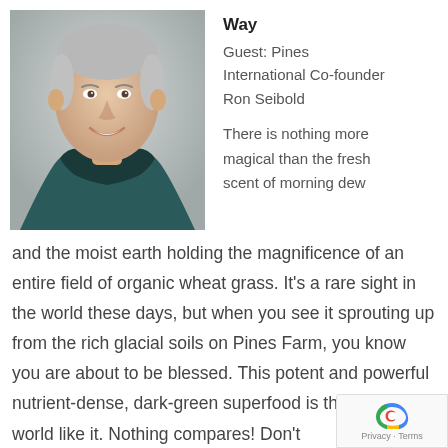[Figure (photo): Headshot of an older smiling man with short gray hair wearing a dark teal/green collared shirt, photographed against a light background.]
Way
Guest: Pines International Co-founder Ron Seibold
There is nothing more magical than the fresh scent of morning dew and the moist earth holding the magnificence of an entire field of organic wheat grass. It's a rare sight in the world these days, but when you see it sprouting up from the rich glacial soils on Pines Farm, you know you are about to be blessed. This potent and powerful nutrient-dense, dark-green superfood is the only the world like it. Nothing compares! Don't